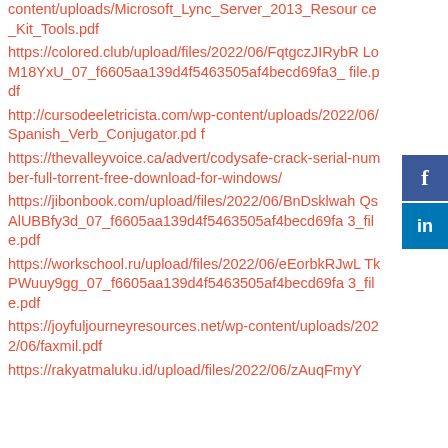content/uploads/Microsoft_Lync_Server_2013_Resource_Kit_Tools.pdf
https://colored.club/upload/files/2022/06/FqtgczJIRybRLoM18YxU_07_f6605aa139d4f5463505af4becd69fa3_file.pdf
http://cursodeeletricista.com/wp-content/uploads/2022/06/Spanish_Verb_Conjugator.pdf
https://thevalleyvoice.ca/advert/codysafe-crack-serial-number-full-torrent-free-download-for-windows/
https://jibonbook.com/upload/files/2022/06/BnDsklwahQsAlUBBfy3d_07_f6605aa139d4f5463505af4becd69fa3_file.pdf
https://workschool.ru/upload/files/2022/06/eEorbkRJwLTkPWuuy9gg_07_f6605aa139d4f5463505af4becd69fa3_file.pdf
https://joyfuljourneyresources.net/wp-content/uploads/2022/06/faxmil.pdf
https://rakyatmaluku.id/upload/files/2022/06/zAuqFmyY